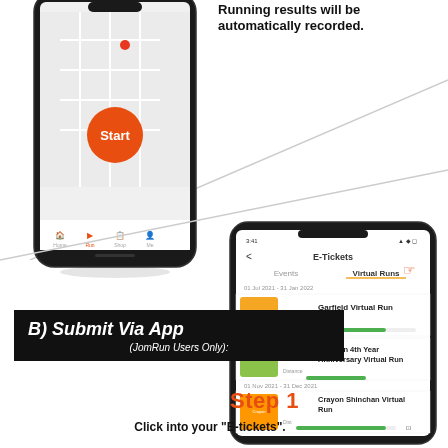Running results will be automatically recorded.
[Figure (screenshot): Smartphone screen showing a map with a red dot and an orange Start button, with navigation icons at the bottom]
[Figure (screenshot): Smartphone screen showing E-Tickets section with Virtual Runs tab selected, listing Garfield Virtual Run, JomRun 4th Year Anniversary Virtual Run, and Crayon Shinchan Virtual Run]
B) Submit Via App (JomRun Users Only):
Step 1
Click into your "E-tickets".